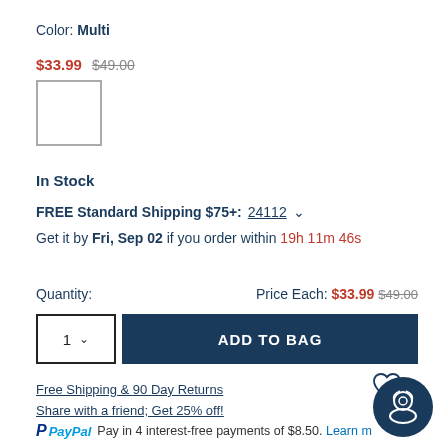Color: Multi
$33.99  $49.00
[Figure (other): Product color swatch — white square with grey border]
In Stock
FREE Standard Shipping $75+: 24112 ∨
Get it by Fri, Sep 02 if you order within 19h 11m 46s
Quantity:   Price Each: $33.99  $49.00
1  ∨   ADD TO BAG
Free Shipping & 90 Day Returns
Share with a friend; Get 25% off!
PayPal  Pay in 4 interest-free payments of $8.50. Learn m…